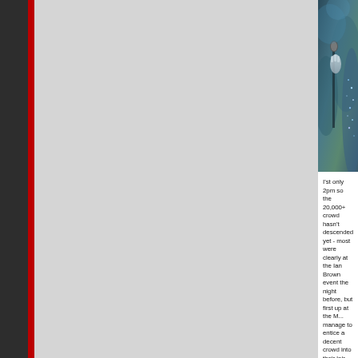[Figure (photo): Concert photo showing a performer with a microphone under blue stage lighting, wearing a sparkly/sequined outfit]
I'st only 2pm so the 20,000+ crowd hasn't descended yet - most were clearly at the Ian Brown event the night before, but first up at the M... manage to entice a decent crowd into their lair. Beco... presence, their brand of electro-pop shakes away th... May68 and that's perhaps a bit of a shame, for whils... heavy technopop, it's a bit too much from the same...
The layout of the nine separate areas is sufficiently w... the Mad Ferret Garden you feel as though you've en... abandoned TVs, coffee tables and 30ft stuffed snake... novelty of the silent disco elicits much laugher. Ther... features dance troupes such as Hypnotic and the Su... And in a distant planet, far, far away, there is the Los... opposite corner of Platt Fields, but once you enter th... to exist. That's provided you can get in - even at 4 p... queue. Once inside it's a maelstrom of flailing arms... of NERO. The only light is from the flashing lasers, i... lost in the music. Similarly, at the second d'n'b stage... with an intensity and energy that seems at odds with...
Surprisingly it's the Now Wave tent that provides mo... EGYPTIAN HIP HOP, who continue to change and i... MASON. From the early days of being a keyboard le... keyboards coming later, so much so that their newes... affair.